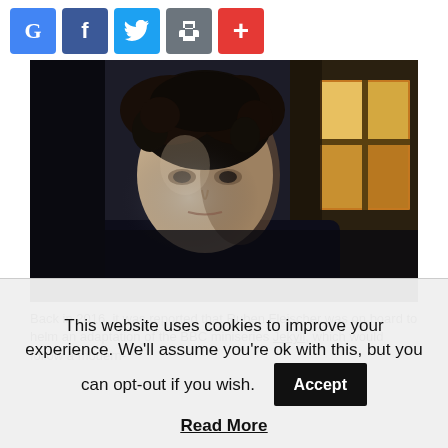[Figure (other): Social share buttons: Google (blue), Facebook (dark blue), Twitter (light blue), Print (gray), Plus/Add (red)]
[Figure (photo): A man with dark curly hair and a serious expression, wearing a dark jacket and light shirt, standing in a dimly lit room with a window showing warm golden light in the background. Film still from BBC miniseries Jekyll.]
Back in 2016, it was reported that Ruben Fleischer was on board to helm an adaptation of the BBC miniseries Jekyll, which would follow a modern-
This website uses cookies to improve your experience. We'll assume you're ok with this, but you can opt-out if you wish.
Read More